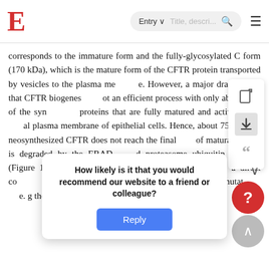E [logo] | Entry ∨ | Title, descri... [search] | ≡
corresponds to the immature form and the fully-glycosylated C form (170 kDa), which is the mature form of the CFTR protein transported by vesicles to the plasma membrane. However, a major drawback is that CFTR biogenesis is not an efficient process with only about 25% of the synthesized proteins that are fully matured and active at the apical plasma membrane of epithelial cells. Hence, about 75% of the neosynthesized CFTR does not reach the final step of maturation and is degraded by the ERAD and proteasome ubiquitin pathway (Figure 1). This peculiar property of wild-type CFTR is a direct consequence of its poor folding efficiency that is gravated by mutations. e.g. the many the deletion of phenylalanine d of 75%
How likely is it that you would recommend our website to a friend or colleague?
Reply